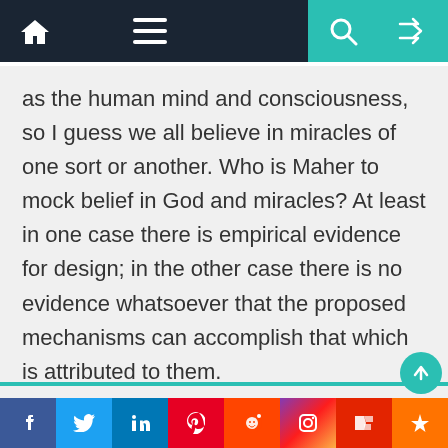[Navigation bar with home, menu, search, shuffle icons]
as the human mind and consciousness, so I guess we all believe in miracles of one sort or another. Who is Maher to mock belief in God and miracles? At least in one case there is empirical evidence for design; in the other case there is no evidence whatsoever that the proposed mechanisms can accomplish that which is attributed to them.
5
Jjcassidy
October 11, 2008 at 10:59 pm
Gil, I've written before that a materialist would more likely believe that an
f  Twitter  in  Pinterest  Reddit  Instagram  Flipboard  +